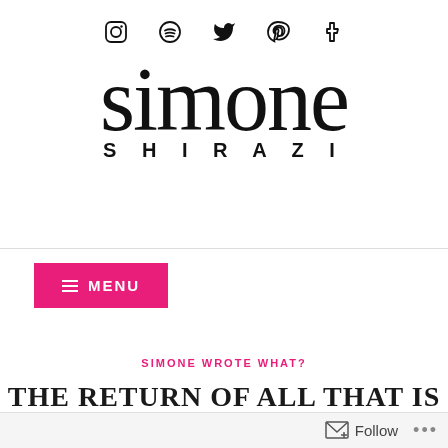Social icons: Instagram, Spotify, Twitter, Pinterest, Tumblr
[Figure (logo): Simone Shirazi blog logo — 'simone' in large cursive script with 'SHIRAZI' in spaced capital letters beneath]
≡ MENU
SIMONE WROTE WHAT?
THE RETURN OF ALL THAT IS GOLD
Follow ...